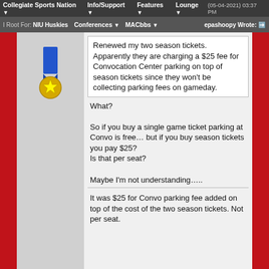Collegiate Sports Nation | Info/Support | Features | Lounge | (05-04-2021) 03:37 PM
I Root For: NIU Huskies | Conferences | MACbbs | epashoopy Wrote:
Renewed my two season tickets. Apparently they are charging a $25 fee for Convocation Center parking on top of season tickets since they won't be collecting parking fees on gameday.
What?

So if you buy a single game ticket parking at Convo is free… but if you buy season tickets you pay $25?
Is that per seat?

Maybe I'm not understanding…..
It was $25 for Convo parking fee added on top of the cost of the two season tickets. Not per seat.